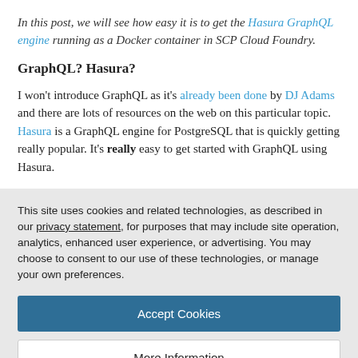In this post, we will see how easy it is to get the Hasura GraphQL engine running as a Docker container in SCP Cloud Foundry.
GraphQL? Hasura?
I won't introduce GraphQL as it's already been done by DJ Adams and there are lots of resources on the web on this particular topic. Hasura is a GraphQL engine for PostgreSQL that is quickly getting really popular. It's really easy to get started with GraphQL using Hasura.
This site uses cookies and related technologies, as described in our privacy statement, for purposes that may include site operation, analytics, enhanced user experience, or advertising. You may choose to consent to our use of these technologies, or manage your own preferences.
Accept Cookies
More Information
Privacy Policy | Powered by: TrustArc